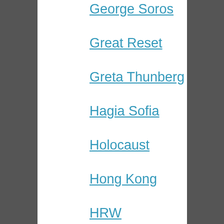George Soros
Great Reset
Greta Thunberg
Hagia Sofia
Holocaust
Hong Kong
HRW
Humanity
ICC
Idlib
Immigration
Imperial College
Incostrat
India
International
Iran